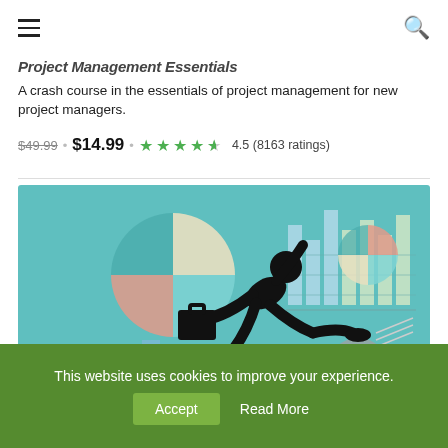Project Management Essentials
A crash course in the essentials of project management for new project managers.
$49.99 • $14.99 • 4.5 (8163 ratings)
[Figure (illustration): Silhouette of a businessman with a briefcase jumping over a hurdle, with a teal background showing charts and graphs (pie charts and bar charts).]
This website uses cookies to improve your experience. Accept  Read More